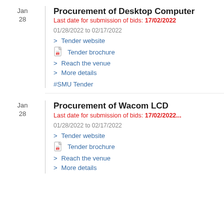Procurement of Desktop Computer
Last date for submission of bids: 17/02/2022
01/28/2022 to 02/17/2022
> Tender website
Tender brochure
> Reach the venue
> More details
#SMU Tender
Procurement of Wacom LCD
Last date for submission of bids: 17/02/2022...
01/28/2022 to 02/17/2022
> Tender website
Tender brochure
> Reach the venue
> More details